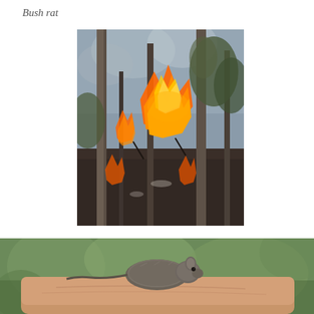Bush rat
[Figure (photo): A bushfire burning through Australian scrubland/forest with orange flames visible among dark tree trunks and burnt ground cover, with smoke rising.]
[Figure (photo): A hand holding a small bush rat (rodent) with blurred green vegetation in the background.]